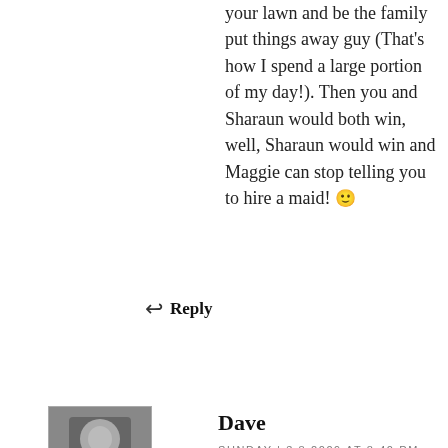your lawn and be the family put things away guy (That's how I spend a large portion of my day!). Then you and Sharaun would both win, well, Sharaun would win and Maggie can stop telling you to hire a maid! 🙂
↩ Reply
[Figure (photo): Grayscale avatar photo of commenter Dave]
Dave
SUNDAY | 3.8.2009 AT 8:40 PM
Hush!! I knew someone would put that together 🙂
I'll pretend to ignore that last bit and instead envy your North Dakota cable price… where can I sign up?
↩ Reply